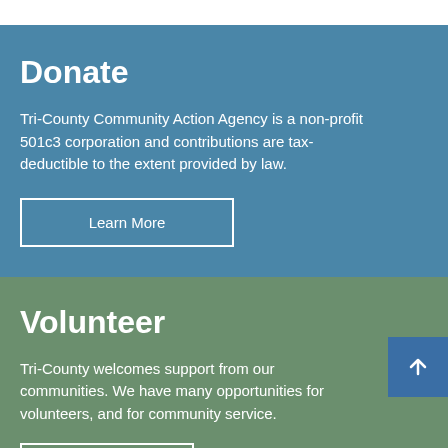Donate
Tri-County Community Action Agency is a non-profit 501c3 corporation and contributions are tax-deductible to the extent provided by law.
Volunteer
Tri-County welcomes support from our communities. We have many opportunities for volunteers, and for community service.